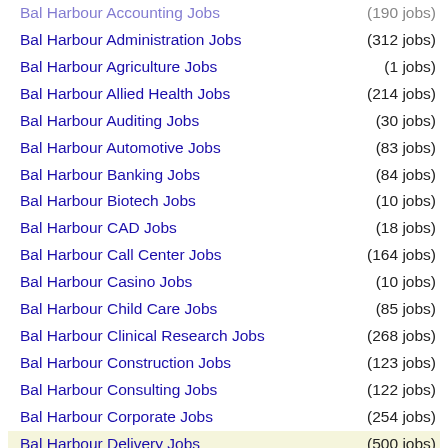Bal Harbour Accounting Jobs (190 jobs)
Bal Harbour Administration Jobs (312 jobs)
Bal Harbour Agriculture Jobs (1 jobs)
Bal Harbour Allied Health Jobs (214 jobs)
Bal Harbour Auditing Jobs (30 jobs)
Bal Harbour Automotive Jobs (83 jobs)
Bal Harbour Banking Jobs (84 jobs)
Bal Harbour Biotech Jobs (10 jobs)
Bal Harbour CAD Jobs (18 jobs)
Bal Harbour Call Center Jobs (164 jobs)
Bal Harbour Casino Jobs (10 jobs)
Bal Harbour Child Care Jobs (85 jobs)
Bal Harbour Clinical Research Jobs (268 jobs)
Bal Harbour Construction Jobs (123 jobs)
Bal Harbour Consulting Jobs (122 jobs)
Bal Harbour Corporate Jobs (254 jobs)
Bal Harbour Delivery Jobs (500 jobs)
Bal Harbour Distribution Jobs (116 jobs)
Bal Harbour Education Jobs (500 jobs)
Bal Harbour Engineering Jobs (324 jobs)